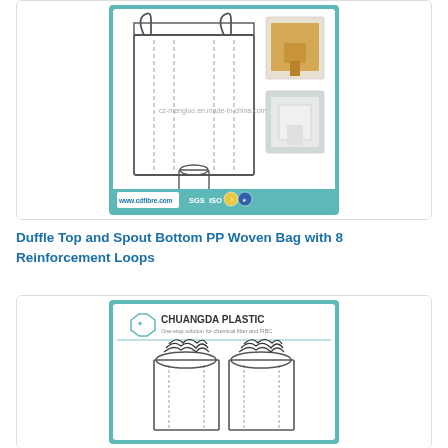[Figure (photo): Product photo of a PP woven FIBC bulk bag with spout bottom and loop handles, shown as line drawing plus two photographic inserts, with watermark cz-mengluo.en.made-in-china.com and cdfibre.com logo and SGS ISO certification badges]
Duffle Top and Spout Bottom PP Woven Bag with 8 Reinforcement Loops
[Figure (photo): Product image of a duffle-top FIBC bulk bag shown as line drawing with CHUANGDA PLASTIC logo and tagline 'One-stop solution for chemical fiber and FIBC']